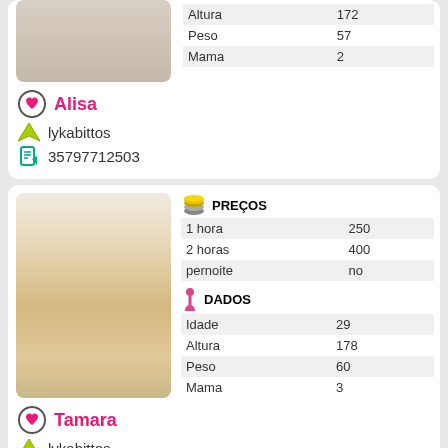[Figure (photo): Partial photo of a person (legs visible), top card cut off]
|  |  |
| --- | --- |
| Altura | 172 |
| Peso | 57 |
| Mama | 2 |
Alisa
lykabittos
35797712503
[Figure (photo): Photo of a young woman with long reddish hair wearing a grey top and beige skirt]
| PREÇOS |  |
| --- | --- |
| 1 hora | 250 |
| 2 horas | 400 |
| pernoite | no |
| DADOS |  |
| --- | --- |
| Idade | 29 |
| Altura | 178 |
| Peso | 60 |
| Mama | 3 |
Tamara
lykabittos
35796128046